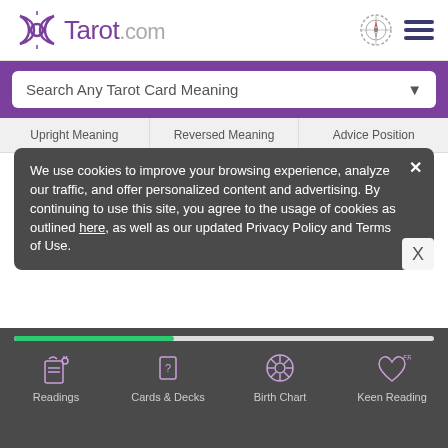Tarot.com
Search Any Tarot Card Meaning
Upright Meaning   Reversed Meaning   Advice Position
See if the Eight of Wands Tarot card appears for you! Start a FREE reading now »
We use cookies to improve your browsing experience, analyze our traffic, and offer personalized content and advertising. By continuing to use this site, you agree to the usage of cookies as outlined here, as well as our updated Privacy Policy and Terms of Use.
Eight of Wands Advice Position
Readings   Cards & Decks   Birth Chart   Keen Reading